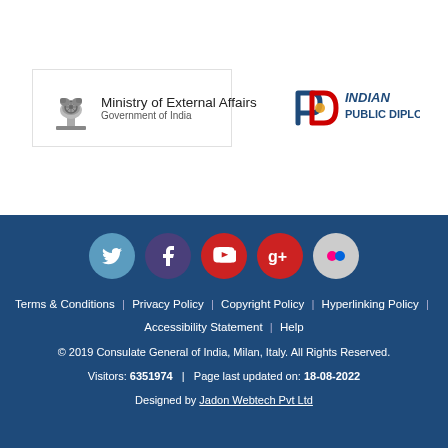[Figure (logo): Ministry of External Affairs, Government of India logo with Ashoka emblem]
[Figure (logo): Indian Public Diplomacy logo with stylized PD letters]
[Figure (infographic): Social media icons: Twitter, Facebook, YouTube, Google+, Flickr]
Terms & Conditions | Privacy Policy | Copyright Policy | Hyperlinking Policy | Accessibility Statement | Help
© 2019 Consulate General of India, Milan, Italy. All Rights Reserved.
Visitors: 6351974 | Page last updated on: 18-08-2022
Designed by Jadon Webtech Pvt Ltd